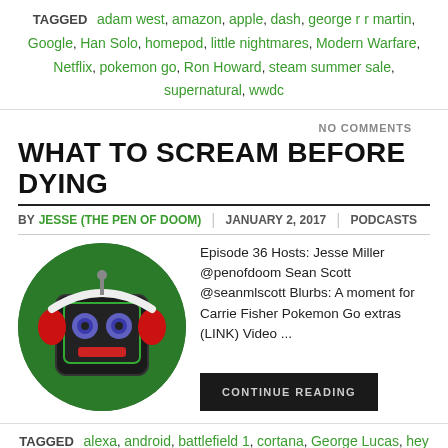TAGGED adam west, amazon, apple, dash, george r r martin, Google, Han Solo, homepod, little nightmares, Modern Warfare, Netflix, pokemon go, Ron Howard, steam summer sale, supernatural, wwdc
NO COMMENTS
WHAT TO SCREAM BEFORE DYING
BY JESSE (THE PEN OF DOOM) | JANUARY 2, 2017 | PODCASTS
[Figure (illustration): Robot podcast logo: a robot face with red headphones on a green circular background]
Episode 36 Hosts: Jesse Miller @penofdoom Sean Scott @seanmlscott Blurbs: A moment for Carrie Fisher Pokemon Go extras (LINK) Video ...
CONTINUE READING
TAGGED alexa, android, battlefield 1, cortana, George Lucas, hey siri, nbc, Nintendo, nougat, ok google, pokemon go, quantum break, rogue one, s7, s7 edge, section 181, smartwatch, social media,